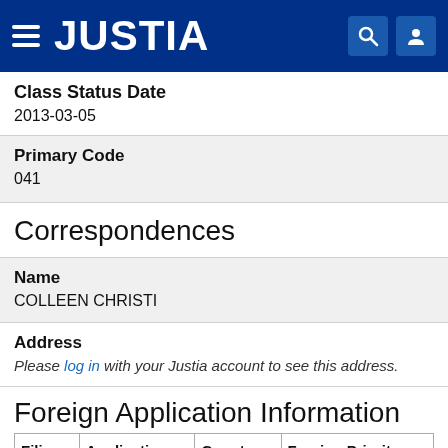JUSTIA
Class Status Date
2013-03-05
Primary Code
041
Correspondences
Name
COLLEEN CHRISTI
Address
Please log in with your Justia account to see this address.
Foreign Application Information
| Filing Date | Application Number | Country | Foreign Priority Claim In |
| --- | --- | --- | --- |